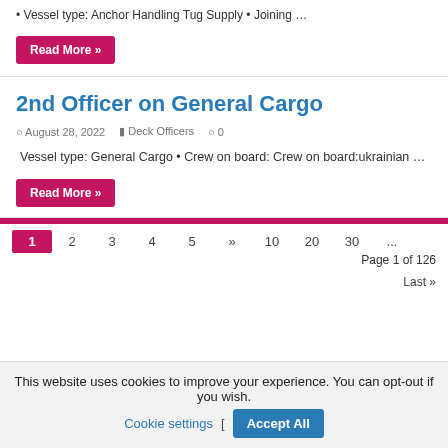• Vessel type: Anchor Handling Tug Supply • Joining …
Read More »
2nd Officer on General Cargo
August 28, 2022    Deck Officers    0
Vessel type: General Cargo • Crew on board: Crew on board:ukrainian …
Read More »
1  2  3  4  5  »  10  20  30  ...  Page 1 of 126  Last »
This website uses cookies to improve your experience. You can opt-out if you wish.  Cookie settings  [  Accept All